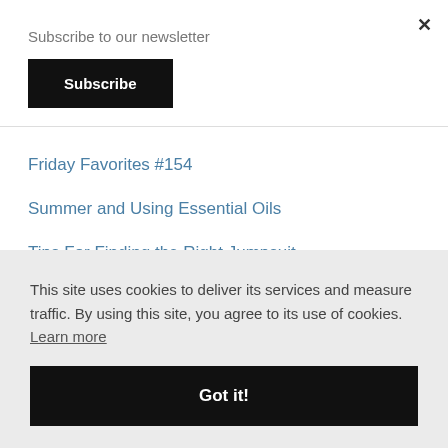Subscribe to our newsletter
Subscribe
Friday Favorites #154
Summer and Using Essential Oils
Tips For Finding the Right Jumpsuit
This site uses cookies to deliver its services and measure traffic. By using this site, you agree to its use of cookies. Learn more
Got it!